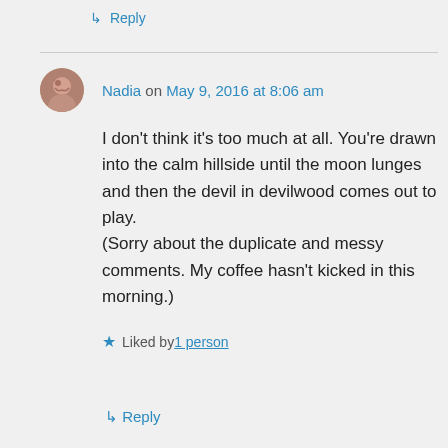↳ Reply
Nadia on May 9, 2016 at 8:06 am
I don't think it's too much at all. You're drawn into the calm hillside until the moon lunges and then the devil in devilwood comes out to play.
(Sorry about the duplicate and messy comments. My coffee hasn't kicked in this morning.)
★ Liked by 1 person
↳ Reply